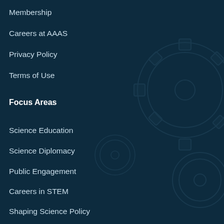Membership
Careers at AAAS
Privacy Policy
Terms of Use
Focus Areas
Science Education
Science Diplomacy
Public Engagement
Careers in STEM
Shaping Science Policy
Advocacy for Evidence
R&D Budget Analysis